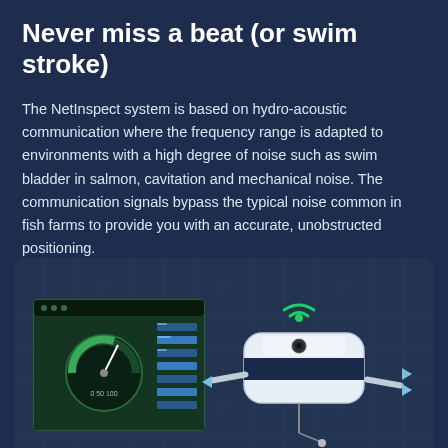Never miss a beat (or swim stroke)
The NetInspect system is based on hydro-acoustic communication where the frequency range is adapted to environments with a high degree of noise such as swim bladder in salmon, cavitation and mechanical noise. The communication signals bypass the typical noise common in fish farms to provide you with an accurate, unobstructed positioning.
[Figure (illustration): Illustration showing a computer screen displaying a gauge/monitoring interface with data readouts, alongside a white underwater device/sensor with a green WiFi/signal icon above it, set against a dark blue grid-pattern background card.]